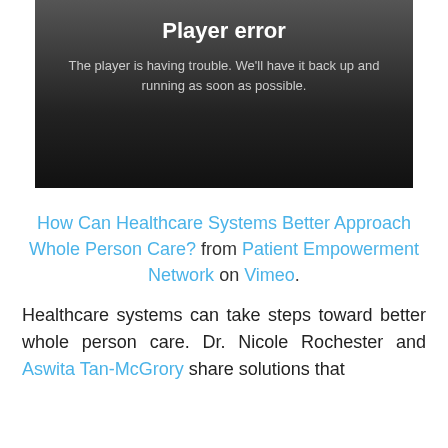[Figure (screenshot): Video player error screen with dark gradient background showing 'Player error' title and error message text in white/gray on dark background.]
How Can Healthcare Systems Better Approach Whole Person Care? from Patient Empowerment Network on Vimeo.
Healthcare systems can take steps toward better whole person care. Dr. Nicole Rochester and Aswita Tan-McGrory share solutions that